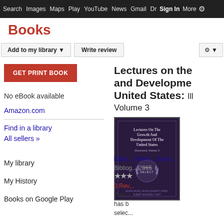Search  Images  Maps  Play  YouTube  News  Gmail  Drive  More  Sign In  ⚙
Books
Add to my library ▼   Write review   ⚙ ▼
GET PRINT BOOK
No eBook available
Amazon.com
Find in a library
All sellers »
My library
My History
Books on Google Play
Lectures on the and Developme United States: Ill Volume 3
[Figure (photo): Book cover of 'Lectures On The Growth And Development Of The United States, Illustrated, Volume 3' with Scholar Select logo]
Edwin ... Evere... Bush...
Bibliog... 2015
★★★
0 Rev...
This o has b selec...